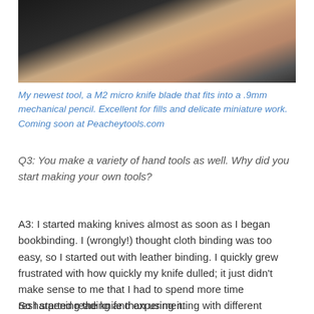[Figure (photo): Close-up photo of a hand holding a very small knife blade (M2 micro knife blade) between fingers, against a dark background.]
My newest tool, a M2 micro knife blade that fits into a .9mm mechanical pencil. Excellent for fills and delicate miniature work. Coming soon at Peacheytools.com
Q3: You make a variety of hand tools as well. Why did you start making your own tools?
A3: I started making knives almost as soon as I began bookbinding. I (wrongly!) thought cloth binding was too easy, so I started out with leather binding. I quickly grew frustrated with how quickly my knife dulled; it just didn't make sense to me that I had to spend more time resharpening the knife than using it.
So I started reading and experimenting with different steels